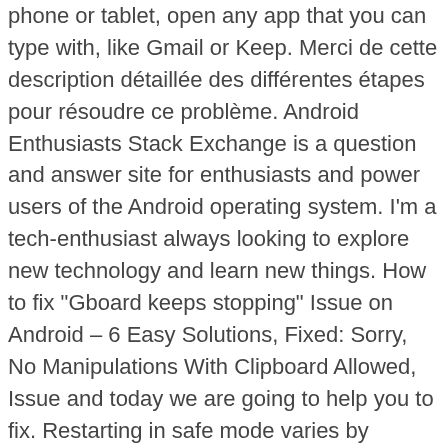phone or tablet, open any app that you can type with, like Gmail or Keep. Merci de cette description détaillée des différentes étapes pour résoudre ce problème. Android Enthusiasts Stack Exchange is a question and answer site for enthusiasts and power users of the Android operating system. I'm a tech-enthusiast always looking to explore new technology and learn new things. How to fix "Gboard keeps stopping" Issue on Android – 6 Easy Solutions, Fixed: Sorry, No Manipulations With Clipboard Allowed, Issue and today we are going to help you to fix. Restarting in safe mode varies by phone. Sign up to join this community. One more reason for this problem is the lack of space on your device. If you have tried all the methods and Gboard is still crashing on your smartphone, I'd recommend that you simply quit using it. THANK YOU!!! There are a lot of them available on the Play Store. After uninstall Gboard keyboard app, reinstall again and check typing to fix Gboard has stopped working on android phone or Gboard keeps stopping error. Now you can go back to the Gboard and see if the error of Gboard